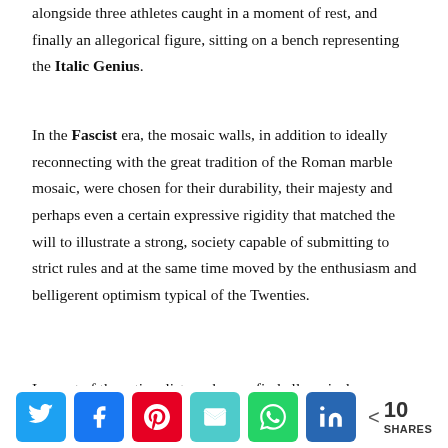alongside three athletes caught in a moment of rest, and finally an allegorical figure, sitting on a bench representing the Italic Genius.
In the Fascist era, the mosaic walls, in addition to ideally reconnecting with the great tradition of the Roman marble mosaic, were chosen for their durability, their majesty and perhaps even a certain expressive rigidity that matched the will to illustrate a strong, society capable of submitting to strict rules and at the same time moved by the enthusiasm and belligerent optimism typical of the Twenties.
In most of the rationalist works, we find allegorical
[Figure (infographic): Social share bar with Twitter, Facebook, Pinterest, Email, WhatsApp, LinkedIn buttons and a share count of 10 SHARES]